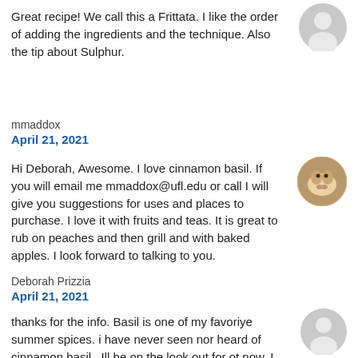Great recipe! We call this a Frittata. I like the order of adding the ingredients and the technique. Also the tip about Sulphur.
mmaddox
April 21, 2021
Hi Deborah, Awesome. I love cinnamon basil. If you will email me mmaddox@ufl.edu or call I will give you suggestions for uses and places to purchase. I love it with fruits and teas. It is great to rub on peaches and then grill and with baked apples. I look forward to talking to you.
Deborah Prizzia
April 21, 2021
thanks for the info. Basil is one of my favoriye summer spices. i have never seen nor heard of cinnamon basil . Ill be on the look out for ot now. I like Tulsi basil for tea which catagory does that one fall in? is that perhaps